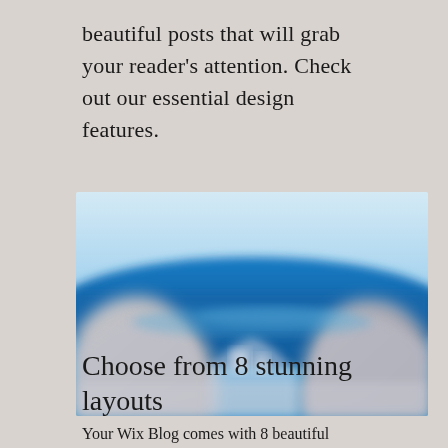beautiful posts that will grab your reader's attention. Check out our essential design features.
[Figure (photo): Blurred/abstract photograph showing a blue sea or ocean scene with white rocky or structural elements in the foreground, and a light blue sky at the top. The image appears to be of a Mediterranean coastal scene, possibly Santorini.]
Choose from 8 stunning layouts
Your Wix Blog comes with 8 beautiful